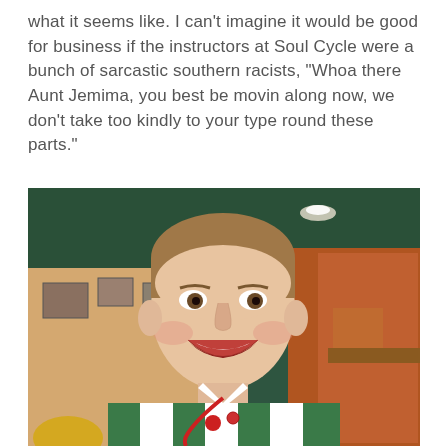what it seems like. I can't imagine it would be good for business if the instructors at Soul Cycle were a bunch of sarcastic southern racists, "Whoa there Aunt Jemima, you best be movin along now, we don't take too kindly to your type round these parts."
[Figure (photo): A smiling young man with short brown hair wearing a green and white striped polo shirt with buttons/pins on it, photographed indoors in what appears to be a casual restaurant setting with pictures on the wall and warm lighting.]